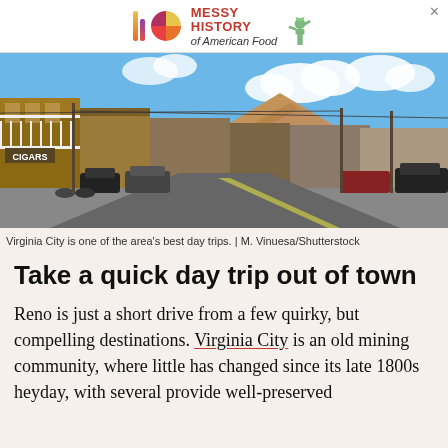[Figure (other): Advertisement banner for 'Messy History of American Food' featuring colorful bar and circle logos and a Statue of Liberty illustration]
[Figure (photo): Street view of Virginia City with historic western-style buildings, parked cars and motorcycles, a desert mountain in the background, and a blue sky with clouds]
Virginia City is one of the area's best day trips. | M. Vinuesa/Shutterstock
Take a quick day trip out of town
Reno is just a short drive from a few quirky, but compelling destinations. Virginia City is an old mining community, where little has changed since its late 1800s heyday, with several provide well-preserved...